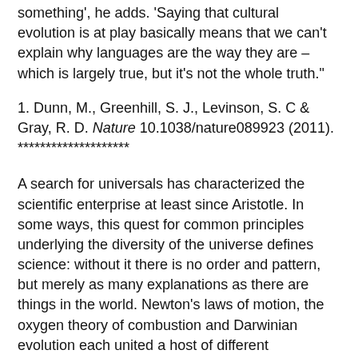something', he adds. 'Saying that cultural evolution is at play basically means that we can't explain why languages are the way they are – which is largely true, but it's not the whole truth."
1. Dunn, M., Greenhill, S. J., Levinson, S. C & Gray, R. D. Nature 10.1038/nature089923 (2011).
********************
A search for universals has characterized the scientific enterprise at least since Aristotle. In some ways, this quest for common principles underlying the diversity of the universe defines science: without it there is no order and pattern, but merely as many explanations as there are things in the world. Newton's laws of motion, the oxygen theory of combustion and Darwinian evolution each united a host of different phenomena in a single explicatory framework.
One view takes this impulse for unification to its extreme: to find a Theory of Everything that offers a single generative equation for all we see. It is becoming ever less clear, however, that such a theory – if it exists – can be considered